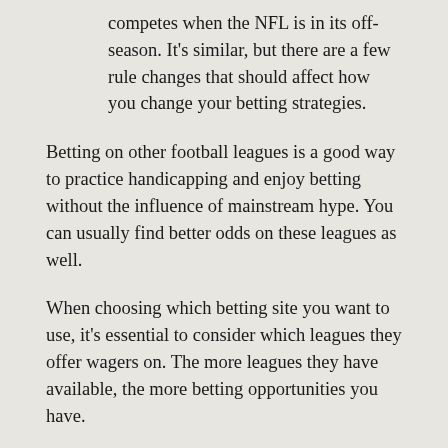competes when the NFL is in its off-season. It's similar, but there are a few rule changes that should affect how you change your betting strategies.
Betting on other football leagues is a good way to practice handicapping and enjoy betting without the influence of mainstream hype. You can usually find better odds on these leagues as well.
When choosing which betting site you want to use, it's essential to consider which leagues they offer wagers on. The more leagues they have available, the more betting opportunities you have.
Types of Football Bets
You might be wondering what you need to know about football betting. Well, one of the first things